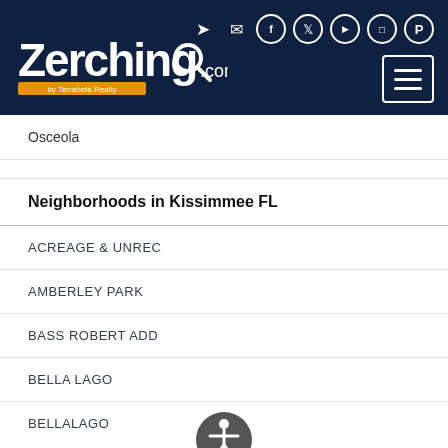[Figure (logo): Zerching.com by Terrabeta Realty logo with magnifier icon on dark navy header background, with social media icons and hamburger menu button]
Osceola
Neighborhoods in Kissimmee FL
ACREAGE & UNREC
AMBERLEY PARK
BASS ROBERT ADD
BELLA LAGO
BELLALAGO